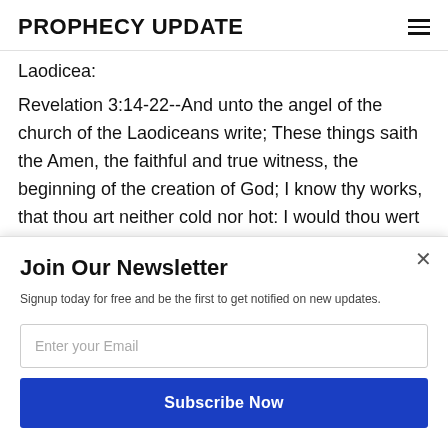PROPHECY UPDATE
Laodicea:
Revelation 3:14-22--And unto the angel of the church of the Laodiceans write; These things saith the Amen, the faithful and true witness, the beginning of the creation of God; I know thy works, that thou art neither cold nor hot: I would thou wert cold or hot. So then because thou art lukewarm, and neith [POWERED BY SUMO] will spue thee out of
Join Our Newsletter
Signup today for free and be the first to get notified on new updates.
Enter your Email
Subscribe Now